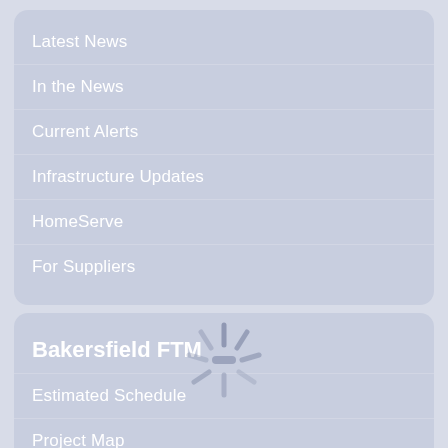Latest News
In the News
Current Alerts
Infrastructure Updates
HomeServe
For Suppliers
Bakersfield FTM
Estimated Schedule
Project Map
Street Lookup
Frequently Asked Questions